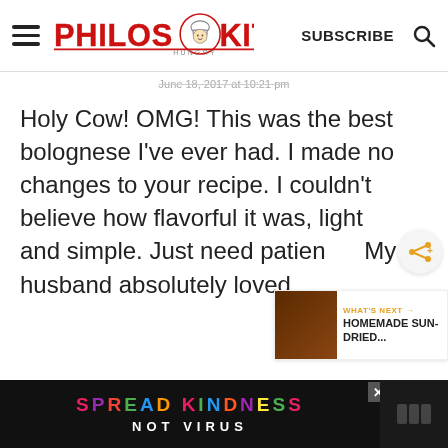Philos Kitchen — SUBSCRIBE
June 18, 2017 at 10:21 pm
Holy Cow! OMG! This was the best bolognese I've ever had. I made no changes to your recipe. I couldn't believe how flavorful it was, light and simple. Just need patien… My husband absolutely loved
WHAT'S NEXT → HOMEMADE SUN-DRIED...
SPREAD KINDNESS NOT VIRUS